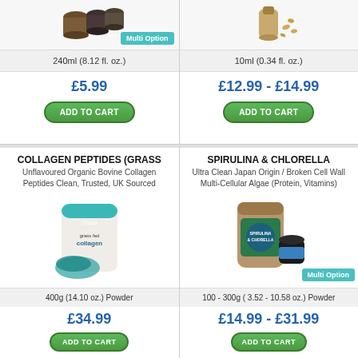240ml (8.12 fl. oz.)
£5.99
ADD TO CART
10ml (0.34 fl. oz.)
£12.99 - £14.99
ADD TO CART
COLLAGEN PEPTIDES (GRASS
Unflavoured Organic Bovine Collagen Peptides Clean, Trusted, UK Sourced
[Figure (photo): Ossa grass fed collagen powder bag]
400g (14.10 oz.) Powder
£34.99
ADD TO CART
SPIRULINA & CHLORELLA
Ultra Clean Japan Origin / Broken Cell Wall Multi-Cellular Algae (Protein, Vitamins)
[Figure (photo): Spirulina and chlorella powder bags with multi option badge]
100 - 300g ( 3.52 - 10.58 oz.) Powder
£14.99 - £31.99
ADD TO CART